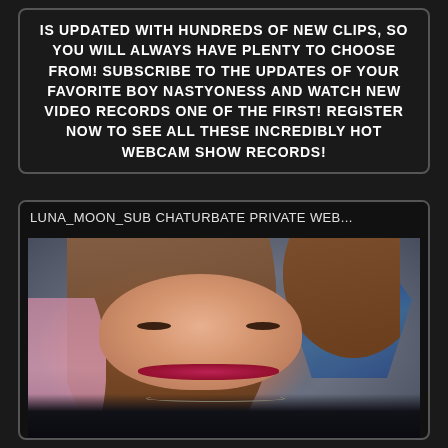IS UPDATED WITH HUNDREDS OF NEW CLIPS, SO YOU WILL ALWAYS HAVE PLENTY TO CHOOSE FROM! SUBSCRIBE TO THE UPDATES OF YOUR FAVORITE BOY NASTYONESS AND WATCH NEW VIDEO RECORDS ONE OF THE FIRST! REGISTER NOW TO SEE ALL THESE INCREDIBLY HOT WEBCAM SHOW RECORDS!
LUNA_MOON_SUB CHATURBATE PRIVATE WEB...
[Figure (photo): Webcam screenshot of a young woman with long brown/auburn hair and pink streaks, wearing a black top and silver necklace, against a blue-grey background with blue decorative feathers/plant on the right side.]